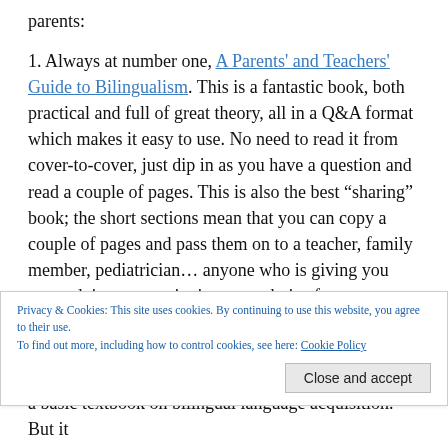parents:
1. Always at number one, A Parents' and Teachers' Guide to Bilingualism. This is a fantastic book, both practical and full of great theory, all in a Q&A format which makes it easy to use. No need to read it from cover-to-cover, just dip in as you have a question and read a couple of pages. This is also the best “sharing” book; the short sections mean that you can copy a couple of pages and pass them on to a teacher, family member, pediatrician… anyone who is giving you poor advice or questioning your choice for bilingualism.
Privacy & Cookies: This site uses cookies. By continuing to use this website, you agree to their use. To find out more, including how to control cookies, see here: Cookie Policy
Close and accept
a basic textbook on bilingual language acquisition. But it